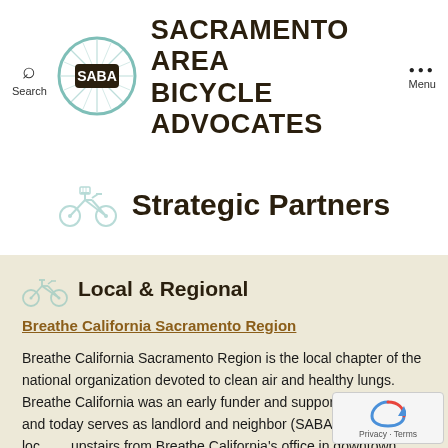Sacramento Area Bicycle Advocates — Search | Menu
Strategic Partners
Local & Regional
Breathe California Sacramento Region
Breathe California Sacramento Region is the local chapter of the national organization devoted to clean air and healthy lungs. Breathe California was an early funder and supporter of SABA, and today serves as landlord and neighbor (SABA's office is located upstairs from Breathe California's office in downtown Sacramento). We serve on Breathe California's Clean Air Policy Committee.